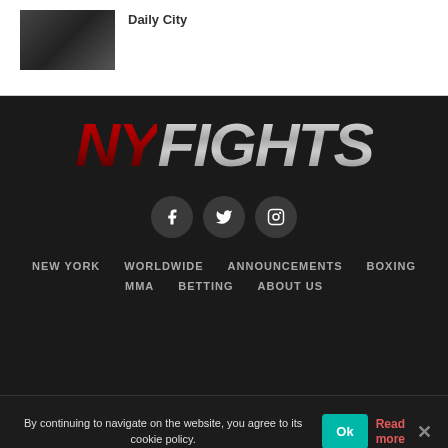[Figure (photo): Small thumbnail photo of people, appears dark/dimly lit]
Daily City
[Figure (logo): NYFIGHTS logo with NY in red italic and FIGHTS in silver/gray italic on dark background]
[Figure (infographic): Three social media icons: Facebook, Twitter, Instagram on dark circular backgrounds]
NEW YORK   WORLDWIDE   ANNOUNCEMENTS   BOXING   MMA   BETTING   ABOUT US
By continuing to navigate on the website, you agree to its cookie policy.
Ok
Read more